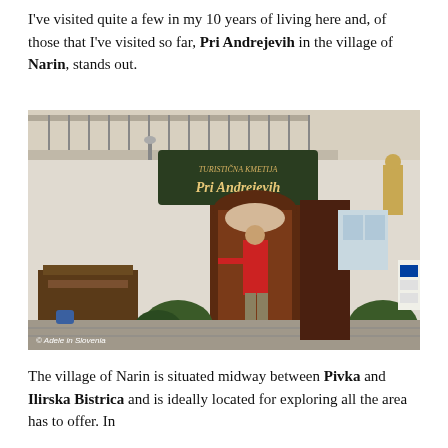I've visited quite a few in my 10 years of living here and, of those that I've visited so far, Pri Andrejevih in the village of Narin, stands out.
[Figure (photo): Exterior photo of Pri Andrejevih guesthouse in Narin, Slovenia. A woman in a red sweater stands at the open wooden entrance door. A hanging sign reads 'Pri Andrejevih'. Outdoor seating with wooden benches is visible on the left, and shrubs flank the entrance. A statue is visible on the upper right wall. Photo credit: © Adele in Slovenia.]
The village of Narin is situated midway between Pivka and Ilirska Bistrica and is ideally located for exploring all the area has to offer. In